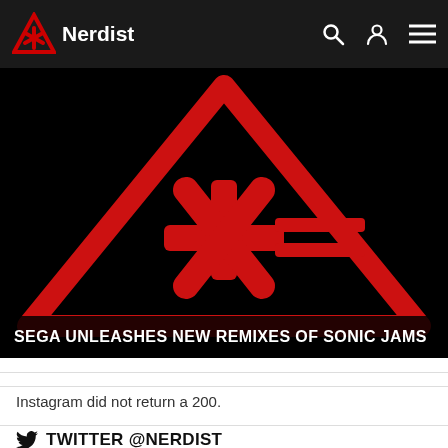Nerdist
[Figure (logo): Large red warning triangle with asterisk/snowflake symbol and double horizontal lines on black background — Nerdist hero image]
SEGA UNLEASHES NEW REMIXES OF SONIC JAMS
Instagram did not return a 200.
TWITTER @NERDIST
Cherry Fernanda Fontes Estrada #BlackLa...